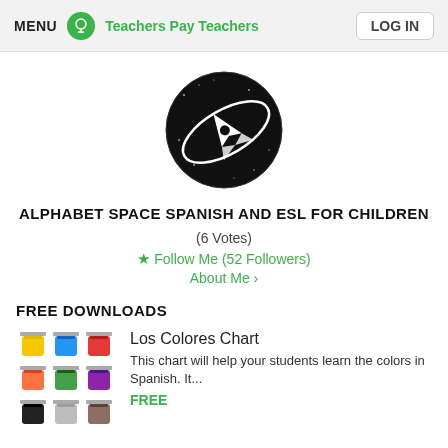MENU | Teachers Pay Teachers | LOG IN
[Figure (logo): Circular black logo with white rocket/space design for Alphabet Space Spanish and ESL for Children]
ALPHABET SPACE SPANISH AND ESL FOR CHILDREN
(6 Votes)
★ Follow Me (52 Followers)
About Me ›
FREE DOWNLOADS
[Figure (photo): Thumbnail image of colorful paint buckets for Los Colores Chart product]
Los Colores Chart
This chart will help your students learn the colors in Spanish. It...
FREE